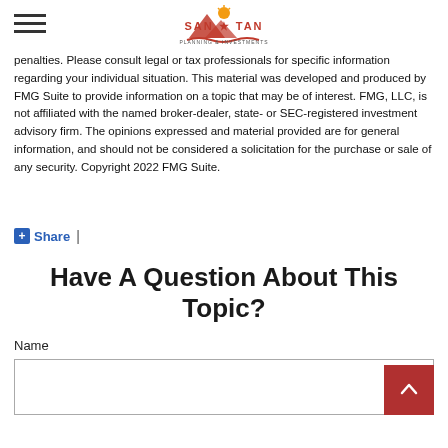San Tan Planning & Investments
penalties. Please consult legal or tax professionals for specific information regarding your individual situation. This material was developed and produced by FMG Suite to provide information on a topic that may be of interest. FMG, LLC, is not affiliated with the named broker-dealer, state- or SEC-registered investment advisory firm. The opinions expressed and material provided are for general information, and should not be considered a solicitation for the purchase or sale of any security. Copyright 2022 FMG Suite.
+ Share |
Have A Question About This Topic?
Name